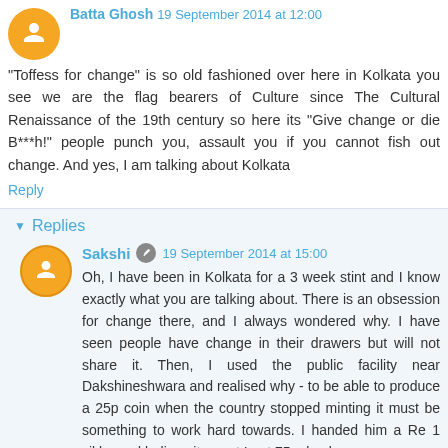Batta Ghosh 19 September 2014 at 12:00
"Toffess for change" is so old fashioned over here in Kolkata you see we are the flag bearers of Culture since The Cultural Renaissance of the 19th century so here its "Give change or die B***h!" people punch you, assault you if you cannot fish out change. And yes, I am talking about Kolkata
Reply
Replies
Sakshi 19 September 2014 at 15:00
Oh, I have been in Kolkata for a 3 week stint and I know exactly what you are talking about. There is an obsession for change there, and I always wondered why. I have seen people have change in their drawers but will not share it. Then, I used the public facility near Dakshineshwara and realised why - to be able to produce a 25p coin when the country stopped minting it must be something to work hard towards. I handed him a Re 1 sikka and believe it or not I got 75 p back.